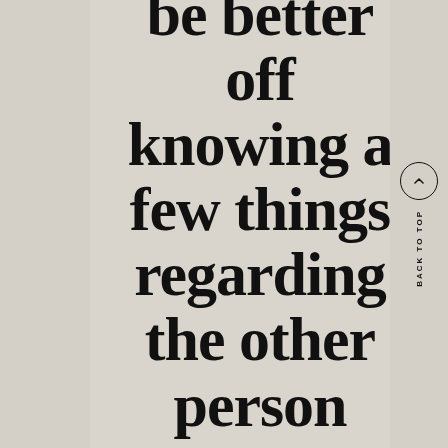be better off knowing a few things regarding the other person